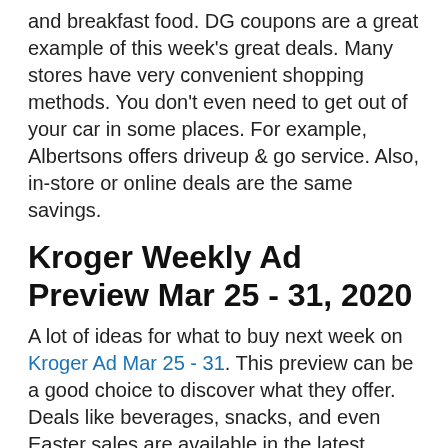and breakfast food. DG coupons are a great example of this week's great deals. Many stores have very convenient shopping methods. You don't even need to get out of your car in some places. For example, Albertsons offers driveup & go service. Also, in-store or online deals are the same savings.
Kroger Weekly Ad Preview Mar 25 - 31, 2020
A lot of ideas for what to buy next week on Kroger Ad Mar 25 - 31. This preview can be a good choice to discover what they offer. Deals like beverages, snacks, and even Easter sales are available in the latest weekly ad.
[Figure (photo): Kroger store advertisement banner showing Kroger logo with tagline 'Fresh For Everyone', a 'We're Hiring!' badge, and a 'Fresh Deal' section at the bottom with a price starting with '$'.]